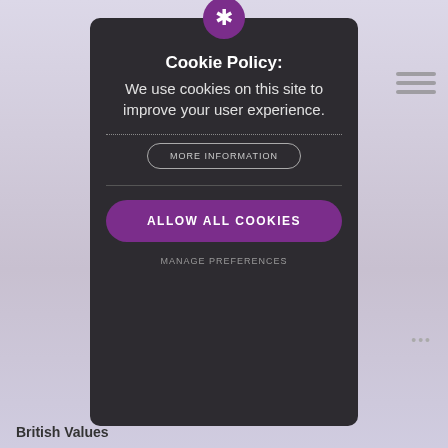[Figure (screenshot): Background webpage with light purple/lavender gradient, a shield logo top-left, hamburger menu lines top-right, and 'British Values' text bottom-left]
Cookie Policy:
We use cookies on this site to improve your user experience.
MORE INFORMATION
ALLOW ALL COOKIES
MANAGE PREFERENCES